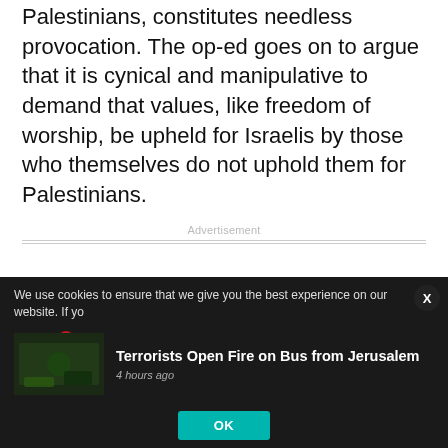Palestinians, constitutes needless provocation. The op-ed goes on to argue that it is cynical and manipulative to demand that values, like freedom of worship, be upheld for Israelis by those who themselves do not uphold them for Palestinians.
Advertisement
Between the festivals of Passover and Shavuot Jews count the Omer for 49 nights. After reciting
We use cookies to ensure that we give you the best experience on our website. If yo
Terrorists Open Fire on Bus from Jerusalem
4 hours ago